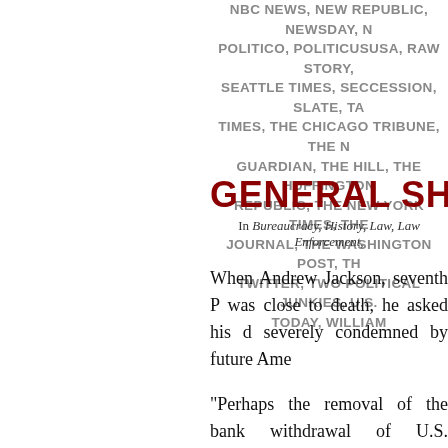NBC NEWS, NEW REPUBLIC, NEWSDAY, N POLITICO, POLITICUSUSA, RAW STORY, SEATTLE TIMES, SECCESSION, SLATE, TA TIMES, THE CHICAGO TRIBUNE, THE GUARDIAN, THE HILL, THE HUFFINGTON REPUBLIC, THE NEW YORK TIMES, THE JOURNAL, THE WASHINGTON POST, TH TWITTER, TWO POLITICAL JUNKIES, U.S. TODAY, WILLIAM
GENERAL SHERMA
In Bureaucracy, History, Law, Law Enforcement,
When Andrew Jackson, seventh P was close to death, he asked his d severely condemned by future Ame
“Perhaps the removal of the bank withdrawal of U.S. Government mo
That act had destroyed the bank political corruption.
“Oh, no!” said Jackson.
Then his eyes blazing, Jackson